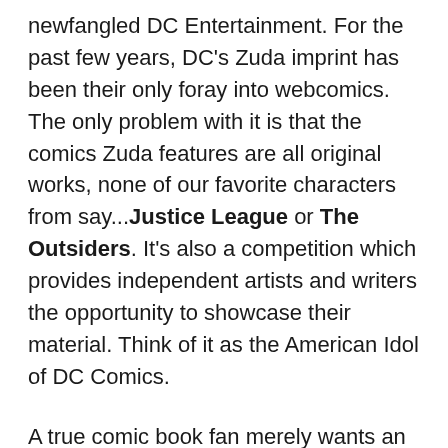newfangled DC Entertainment. For the past few years, DC's Zuda imprint has been their only foray into webcomics. The only problem with it is that the comics Zuda features are all original works, none of our favorite characters from say...Justice League or The Outsiders. It's also a competition which provides independent artists and writers the opportunity to showcase their material. Think of it as the American Idol of DC Comics.
A true comic book fan merely wants an escape. They want to experience stories of their favorite heroes while being immersed in spectacular comic art. Personally, I could care less if I have the actual issue in my hand or not. It's even better if I don't because I have enough crap in my bedroom and I don't need even more stacks of comics. My legs...